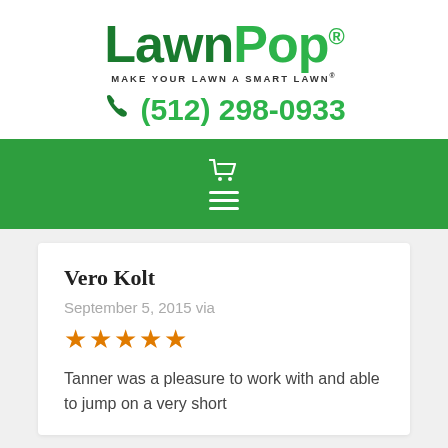[Figure (logo): LawnPop logo with green text and registered trademark symbol]
MAKE YOUR LAWN A SMART LAWN®
(512) 298-0933
[Figure (other): Green navigation bar with shopping cart icon and hamburger menu icon]
Vero Kolt
September 5, 2015 via
[Figure (other): 5 orange star rating]
Tanner was a pleasure to work with and able to jump on a very short